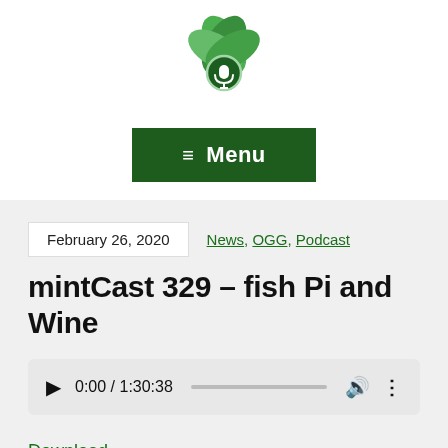[Figure (logo): Mint podcast logo: green leaves with a microphone icon in a circular badge]
[Figure (screenshot): Dark green Menu button with hamburger icon]
February 26, 2020
News, OGG, Podcast
mintCast 329 – fish Pi and Wine
[Figure (other): Audio player showing 0:00 / 1:30:38 with play button, progress bar, volume and more icons]
Download